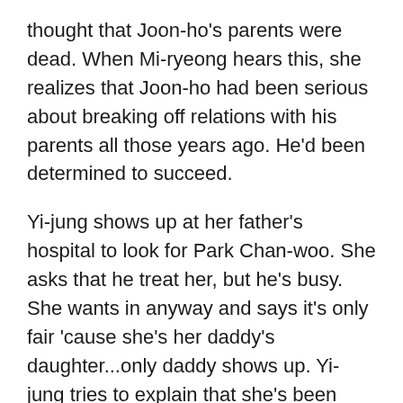thought that Joon-ho's parents were dead. When Mi-ryeong hears this, she realizes that Joon-ho had been serious about breaking off relations with his parents all those years ago. He'd been determined to succeed.
Yi-jung shows up at her father's hospital to look for Park Chan-woo. She asks that he treat her, but he's busy. She wants in anyway and says it's only fair 'cause she's her daddy's daughter...only daddy shows up. Yi-jung tries to explain that she's been practicing so much that her skin is bad and her hair is falling out.
Maybe it's trying to dye your hair red that's making your hair fall out...just sayin'.